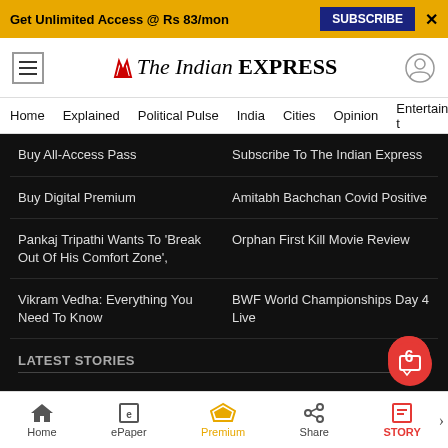Get Unlimited Access @ Rs 83/mon  SUBSCRIBE  X
The Indian EXPRESS
Home | Explained | Political Pulse | India | Cities | Opinion | Entertainment
Buy All-Access Pass
Subscribe To The Indian Express
Buy Digital Premium
Amitabh Bachchan Covid Positive
Pankaj Tripathi Wants To 'Break Out Of His Comfort Zone',
Orphan First Kill Movie Review
Vikram Vedha: Everything You Need To Know
BWF World Championships Day 4 Live
LATEST STORIES
Tamil Nadu Logs 512 Fresh Covid-19 Cases, 1 Death
Stalin Launches Portal For Skill Development Pla... Get Access To New T...
Home  ePaper  Premium  Share  STORY